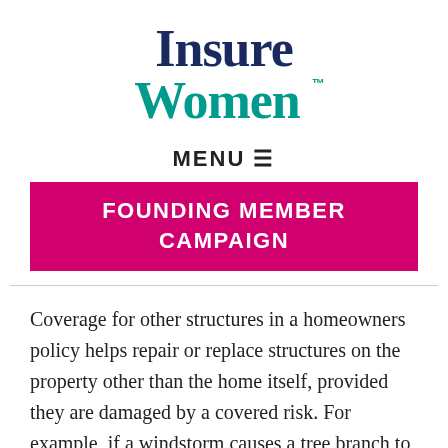[Figure (logo): InsureWomen logo with dark navy 'Insure' text and teal 'Women' text with trademark symbol]
MENU ☰
FOUNDING MEMBER CAMPAIGN
Coverage for other structures in a homeowners policy helps repair or replace structures on the property other than the home itself, provided they are damaged by a covered risk. For example, if a windstorm causes a tree branch to fall on and damage a structure, the damage...